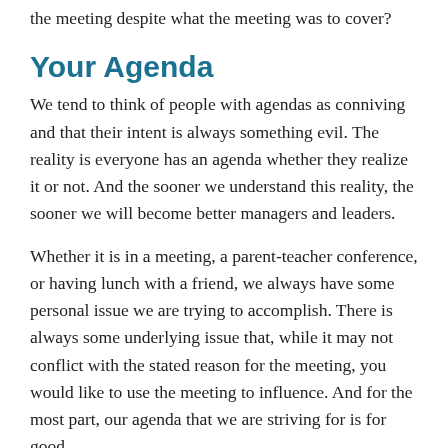the meeting despite what the meeting was to cover?
Your Agenda
We tend to think of people with agendas as conniving and that their intent is always something evil. The reality is everyone has an agenda whether they realize it or not. And the sooner we understand this reality, the sooner we will become better managers and leaders.
Whether it is in a meeting, a parent-teacher conference, or having lunch with a friend, we always have some personal issue we are trying to accomplish. There is always some underlying issue that, while it may not conflict with the stated reason for the meeting, you would like to use the meeting to influence. And for the most part, our agenda that we are striving for is for good.